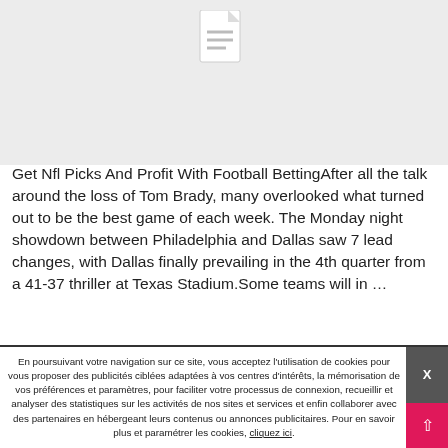[Figure (illustration): Light gray placeholder image with a document/file icon (white page with lines) centered near the top]
Get Nfl Picks And Profit With Football BettingAfter all the talk around the loss of Tom Brady, many overlooked what turned out to be the best game of each week. The Monday night showdown between Philadelphia and Dallas saw 7 lead changes, with Dallas finally prevailing in the 4th quarter from a 41-37 thriller at Texas Stadium.Some teams will in …
En poursuivant votre navigation sur ce site, vous acceptez l'utilisation de cookies pour vous proposer des publicités ciblées adaptées à vos centres d'intérêts, la mémorisation de vos préférences et paramètres, pour faciliter votre processus de connexion, recueillir et analyser des statistiques sur les activités de nos sites et services et enfin collaborer avec des partenaires en hébergeant leurs contenus ou annonces publicitaires. Pour en savoir plus et paramétrer les cookies, cliquez ici.